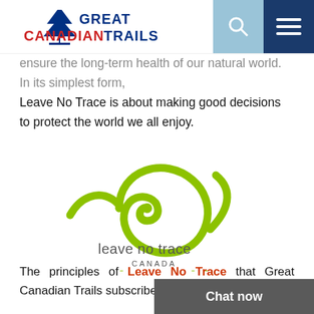Great Canadian Trails
ensure the long-term health of our natural world. In its simplest form, Leave No Trace is about making good decisions to protect the world we all enjoy.
[Figure (logo): Leave No Trace Canada logo with a green spiral/eye symbol above the text 'leave no trace CANADA' and 'Outdoor Ethics' in green bold text below.]
The principles of Leave No Trace that Great Canadian Trails subscribes to are: